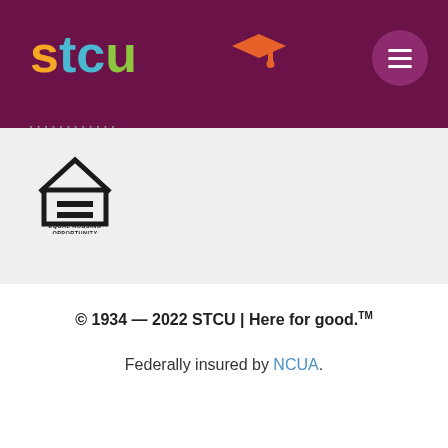[Figure (logo): STCU logo with colorful letters and graduation cap, on dark purple background]
[Figure (illustration): Equal Housing Opportunity logo — house outline with equals sign inside, text EQUAL HOUSING OPPORTUNITY below]
© 1934 — 2022 STCU | Here for good.™
Federally insured by NCUA.